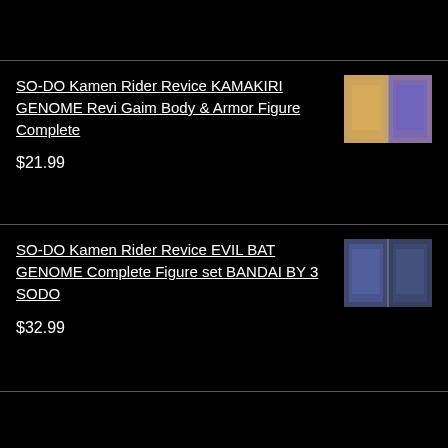SO-DO Kamen Rider Revice KAMAKIRI GENOME Revi Gaim Body & Armor Figure Complete
$21.99
[Figure (photo): Product image of SO-DO Kamen Rider Revice KAMAKIRI GENOME figure set in packaging]
SO-DO Kamen Rider Revice EVIL BAT GENOME Complete Figure set BANDAI BY 3 SODO
$32.99
[Figure (photo): Product image of SO-DO Kamen Rider Revice EVIL BAT GENOME figure set in packaging]